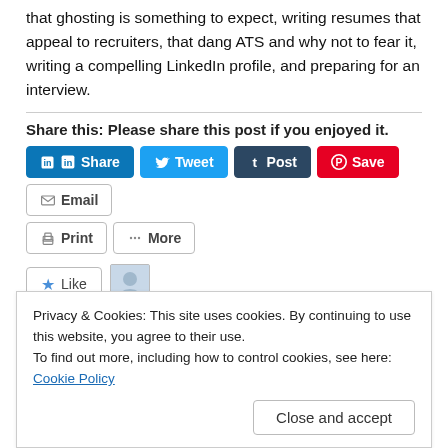that ghosting is something to expect, writing resumes that appeal to recruiters, that dang ATS and why not to fear it, writing a compelling LinkedIn profile, and preparing for an interview.
Share this: Please share this post if you enjoyed it.
[Figure (screenshot): Social sharing buttons: LinkedIn Share, Twitter Tweet, Tumblr Post, Pinterest Save, Email, Print, More]
[Figure (screenshot): Like button with star icon and blogger avatar thumbnail. Text: One blogger likes this.]
One blogger likes this.
Privacy & Cookies: This site uses cookies. By continuing to use this website, you agree to their use. To find out more, including how to control cookies, see here: Cookie Policy. Close and accept.